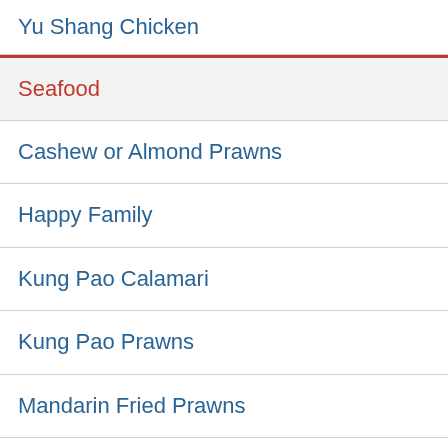Yu Shang Chicken
Seafood
Cashew or Almond Prawns
Happy Family
Kung Pao Calamari
Kung Pao Prawns
Mandarin Fried Prawns
Prawns with Lobster Sauce
Prawns with Snow Peas
Scallop with Greens
Sweet and Sour Prawns